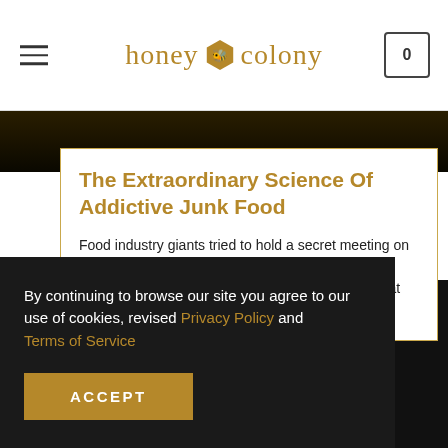honey colony
[Figure (photo): Dark background image strip at top of article]
The Extraordinary Science Of Addictive Junk Food
Food industry giants tried to hold a secret meeting on how to avoid blame for America's obesity epidemic. They failed spectacularly, giving us an inside look at their twisted minds and motives.
By continuing to browse our site you agree to our use of cookies, revised Privacy Policy and Terms of Service
ACCEPT